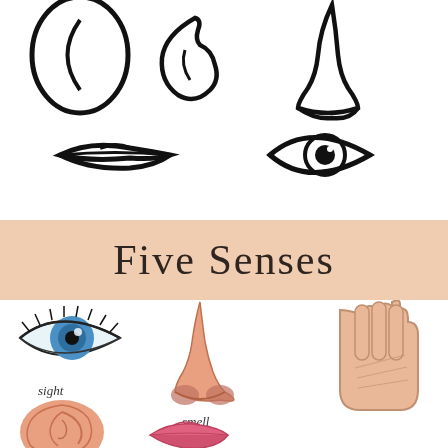[Figure (illustration): Line drawing illustrations of facial features: an ear (left), another ear (center), a nose (right) in top row; lips/mouth (left-center) and an eye (right-center) in second row — all in black outline style]
Five Senses
[Figure (illustration): Color illustrations of the five senses: a realistic blue eye labeled 'sight' (top left), an ear (bottom left), a nose labeled 'smell' (center), a hand (top right), and lips/mouth (bottom center-right)]